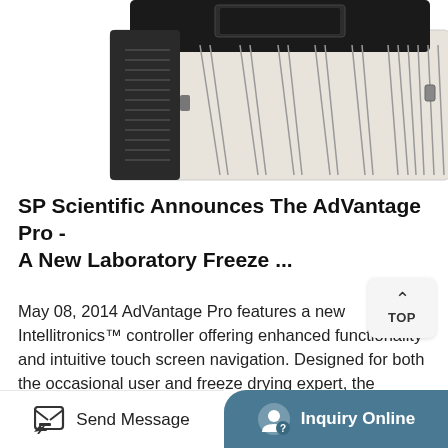[Figure (photo): Laboratory freeze dryer unit — AdVantage Pro product photo. A compact machine with black top panel and white/cream lower body with vertical ventilation grilles, viewed from front-top angle.]
SP Scientific Announces The AdVantage Pro - A New Laboratory Freeze ...
May 08, 2014 AdVantage Pro features a new Intellitronics™ controller offering enhanced functionality and intuitive touch screen navigation. Designed for both the occasional user and freeze drying expert, the AdVantage Pro with Intellitronics ™ simplifies freeze drying and makes the system easy to operate. One touch start-up and shut down ensure that your product and ...
More Product
Send Message | Inquiry Online